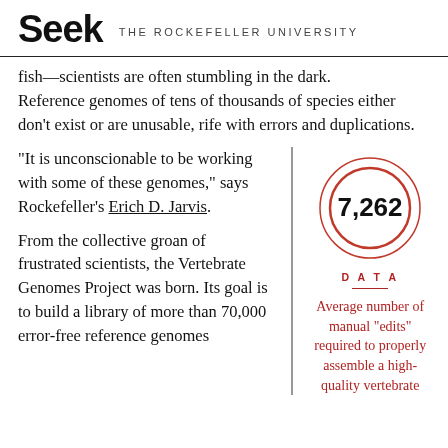Seek THE ROCKEFELLER UNIVERSITY
fish—scientists are often stumbling in the dark. Reference genomes of tens of thousands of species either don't exist or are unusable, rife with errors and duplications.
“It is unconscionable to be working with some of these genomes,” says Rockefeller’s Erich D. Jarvis.
[Figure (infographic): Circle/donut graphic with the number 7,262 in bold inside, with label DATA and caption: Average number of manual “edits” required to properly assemble a high-quality vertebrate]
From the collective groan of frustrated scientists, the Vertebrate Genomes Project was born. Its goal is to build a library of more than 70,000 error-free reference genomes